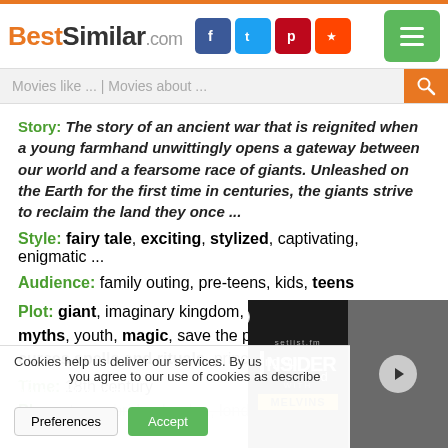BestSimilar.com
Movies like ... | Movies about ...
Story: The story of an ancient war that is reignited when a young farmhand unwittingly opens a gateway between our world and a fearsome race of giants. Unleashed on the Earth for the first time in centuries, the giants strive to reclaim the land they once ...
Style: fairy tale, exciting, stylized, captivating, enigmatic ...
Audience: family outing, pre-teens, kids, teens
Plot: giant, imaginary kingdom, adventure, legends and myths, youth, magic, save the princess, heroic mission, curses spells and rituals, princess, family, heroes ...
Time: 18th century
Place: tower bridge london, london ...
Cookies help us deliver our services. By using our services, you agree to our use of cookies as described in our Cookie Policy.